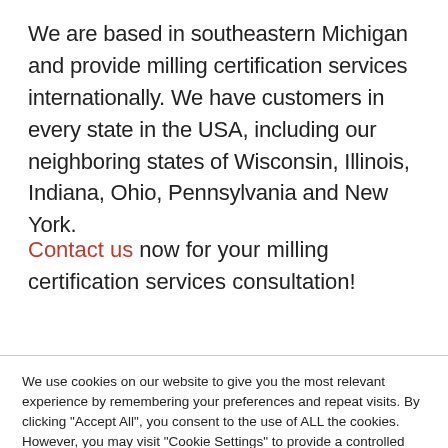We are based in southeastern Michigan and provide milling certification services internationally. We have customers in every state in the USA, including our neighboring states of Wisconsin, Illinois, Indiana, Ohio, Pennsylvania and New York.
Contact us now for your milling certification services consultation!
We use cookies on our website to give you the most relevant experience by remembering your preferences and repeat visits. By clicking "Accept All", you consent to the use of ALL the cookies. However, you may visit "Cookie Settings" to provide a controlled consent.